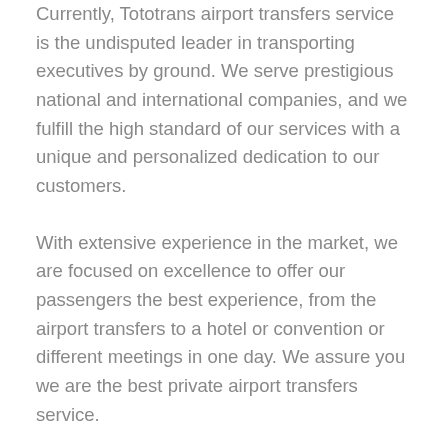Currently, Tototrans airport transfers service is the undisputed leader in transporting executives by ground. We serve prestigious national and international companies, and we fulfill the high standard of our services with a unique and personalized dedication to our customers.
With extensive experience in the market, we are focused on excellence to offer our passengers the best experience, from the airport transfers to a hotel or convention or different meetings in one day. We assure you we are the best private airport transfers service.
In our airport transfers services, we promise high-quality and the best experience. We have a team ready to manage your transportation